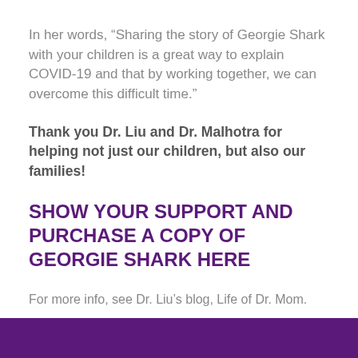In her words, “Sharing the story of Georgie Shark with your children is a great way to explain COVID-19 and that by working together, we can overcome this difficult time.”
Thank you Dr. Liu and Dr. Malhotra for helping not just our children, but also our families!
SHOW YOUR SUPPORT AND PURCHASE A COPY OF GEORGIE SHARK HERE
For more info, see Dr. Liu’s blog, Life of Dr. Mom.